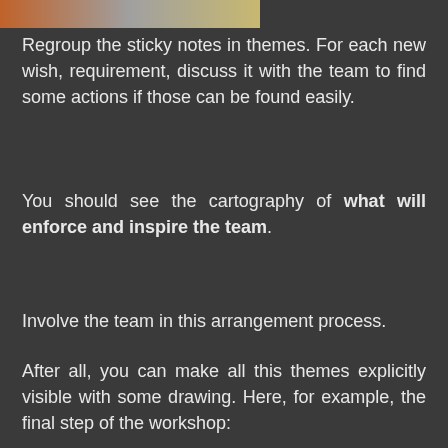[Figure (photo): Partial image strip at top of page showing colorful sticky notes or workshop materials]
Regroup the sticky notes in themes. For each new wish, requirement, discuss it with the team to find some actions if those can be found easily.
You should see the cartography of what will enforce and inspire the team.
Involve the team in this arrangement process.
After all, you can make all this themes explicitly visible with some drawing. Here, for example, the final step of the workshop: